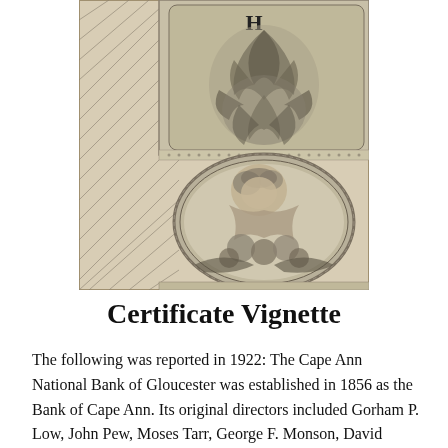[Figure (illustration): A historical engraved certificate vignette showing decorative acanthus leaf ornamentation at the top with the letter 'H' visible, and an oval medallion below depicting a cherubic figure (putto) holding or surrounded by fruits, in a classical engraving style on aged cream/sepia paper.]
Certificate Vignette
The following was reported in 1922: The Cape Ann National Bank of Gloucester was established in 1856 as the Bank of Cape Ann. Its original directors included Gorham P. Low, John Pew, Moses Tarr, George F. Monson, David White, Josiah O. Proctor, Joshua P. Fisk. The Cape Ann National Bank